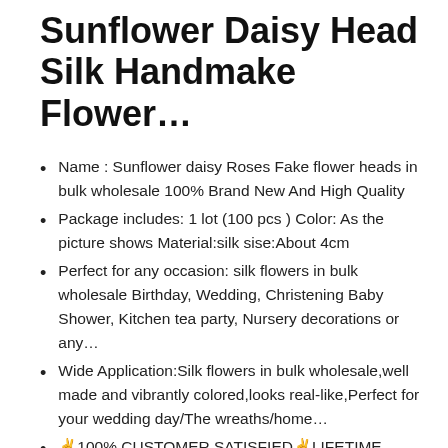Sunflower Daisy Head Silk Handmake Flower…
Name : Sunflower daisy Roses Fake flower heads in bulk wholesale 100% Brand New And High Quality
Package includes: 1 lot (100 pcs ) Color: As the picture shows Material:silk sise:About 4cm
Perfect for any occasion: silk flowers in bulk wholesale Birthday, Wedding, Christening Baby Shower, Kitchen tea party, Nursery decorations or any…
Wide Application:Silk flowers in bulk wholesale,well made and vibrantly colored,looks real-like,Perfect for your wedding day/The wreaths/home…
✌100% CUSTOMER SATISFIED✌LIFETIME WARRANTY- Buy with confidence! Silk flowers in bulk wholesale We are proud of our quality and after sale…